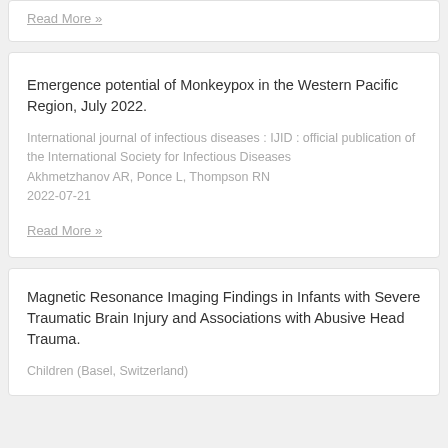Read More »
Emergence potential of Monkeypox in the Western Pacific Region, July 2022.
International journal of infectious diseases : IJID : official publication of the International Society for Infectious Diseases
Akhmetzhanov AR, Ponce L, Thompson RN
2022-07-21
Read More »
Magnetic Resonance Imaging Findings in Infants with Severe Traumatic Brain Injury and Associations with Abusive Head Trauma.
Children (Basel, Switzerland)